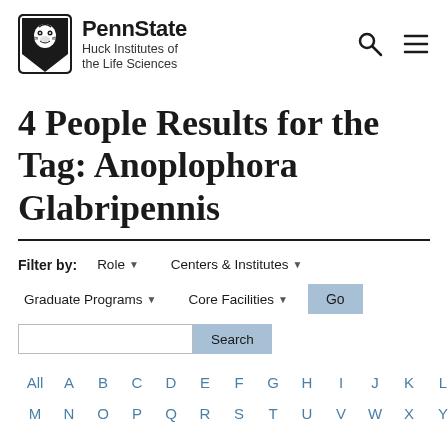[Figure (logo): Penn State Huck Institutes of the Life Sciences logo with lion shield]
4 People Results for the Tag: Anoplophora Glabripennis
Filter by: Role ▼   Centers & Institutes ▼   Graduate Programs ▼   Core Facilities ▼   Go
Search
All  A  B  C  D  E  F  G  H  I  J  K  L  M  N  O  P  Q  R  S  T  U  V  W  X  Y